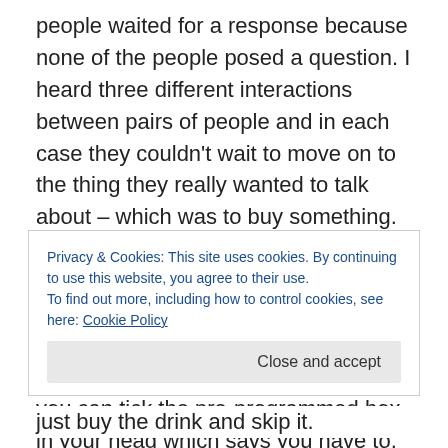people waited for a response because none of the people posed a question. I heard three different interactions between pairs of people and in each case they couldn't wait to move on to the thing they really wanted to talk about – which was to buy something.  WHAT'S THE POINT?? You don't care how the person behind the till is – and that's fine. They don't really care about you either. So don't go through the pretence of politeness just so that you can tick the pre-programmed box in your head which says you have to. Assuming that you haven't got the empathy levels to care about other members of society (used to be
Privacy & Cookies: This site uses cookies. By continuing to use this website, you agree to their use.
To find out more, including how to control cookies, see here: Cookie Policy
just buy the drink and skip it.